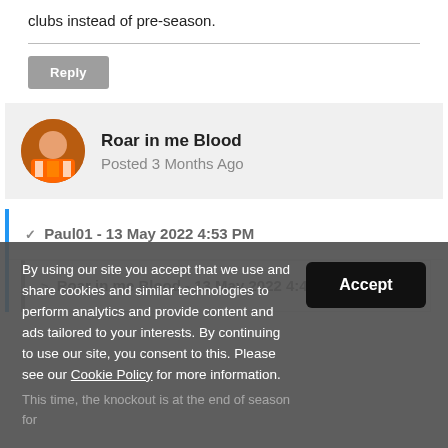clubs instead of pre-season.
Reply
Roar in me Blood
Posted 3 Months Ago
✓ Paul01 - 13 May 2022 4:53 PM
> Roar in me Blood - 13 May 2022 4:47 PM
By using our site you accept that we use and share cookies and similar technologies to perform analytics and provide content and ads tailored to your interests. By continuing to use our site, you consent to this. Please see our Cookie Policy for more information.
Accept
This time, the knockout is at the end of season for